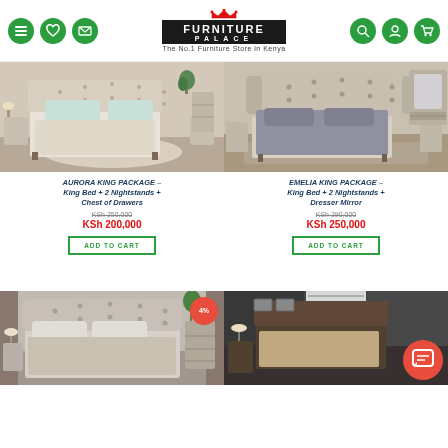[Figure (logo): Furniture Palace logo with crown, black box with white text, tagline 'The No.1 Furniture Store in Kenya']
[Figure (photo): Aurora King Package - beige upholstered king bed with nightstands and chest of drawers in bright bedroom]
AURORA KING PACKAGE – King Bed + 2 Nightstands + Chest of Drawers
KSh 250,000 (strikethrough)
KSh 200,000
ADD TO CART
[Figure (photo): Emelia King Package - grey tufted king bed with nightstands and dresser mirror]
EMELIA KING PACKAGE – King Bed + 2 Nightstands + Dresser Mirror
KSh 290,000 (strikethrough)
KSh 250,000
ADD TO CART
[Figure (photo): Grey tufted king bed package with 4% discount badge]
[Figure (photo): Dark bedroom set with chat button overlay]